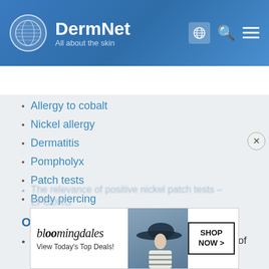[Figure (logo): DermNet logo with globe icon and tagline 'All about the skin']
Table of contents
Allergy to cobalt
Nickel allergy
Dermatitis
Pompholyx
Patch tests
Body piercing
Other websites
TRUE tests – This site provides a wide range of information on contact dermatitis and contact allergens.
[Figure (screenshot): Bloomingdale's advertisement: 'View Today's Top Deals!' with SHOP NOW button and woman in hat image]
The relevance of positive nickel patch tests – EFCDRG